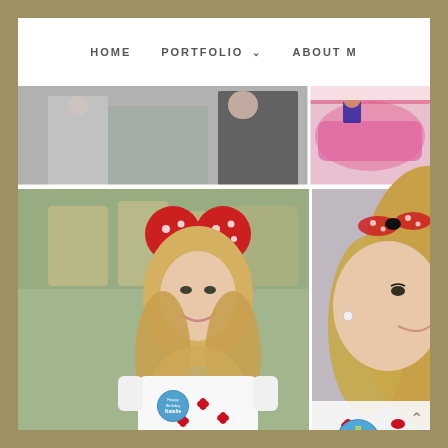HOME   PORTFOLIO ▾   ABOUT M
[Figure (photo): Website portfolio page showing a blonde woman wearing red Minnie Mouse ears and a white bow-print dress at Disneyland. Multiple photos: top row shows partial body shots and a pink Barbie car, bottom row shows full smiling portrait and a close-up side profile. Woman wears a birthday button reading Happy Birthday Natalie 29.]